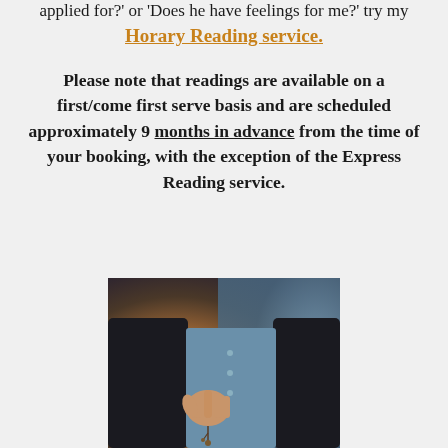applied for?' or 'Does he have feelings for me?' try my Horary Reading service.
Please note that readings are available on a first/come first serve basis and are scheduled approximately 9 months in advance from the time of your booking, with the exception of the Express Reading service.
[Figure (photo): A person wearing a dark jacket over a blue shirt, holding a pendant or rosary in their hand, with a warm blurred background.]